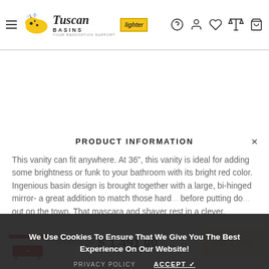Tuscan Basins [header navigation with logo and icons]
PRODUCT INFORMATION
This vanity can fit anywhere. At 36", this vanity is ideal for adding some brightness or funk to your bathroom with its bright red color. Ingenious basin design is brought together with a large, bi-hinged mirror- a great addition to match those hard... before putting do... out on the town. That mascara and shaver rest in a clever, handsome, and chic storage solution with... that is sure to be a delight in function and in sleek design that really shines through.
We Use Cookies To Ensure That We Give You The Best Experience On Our Website!
PRIVACY POLICY   ACCEPT ✓
$ 1,833.32  $ 1,491.00   SOLD OUT